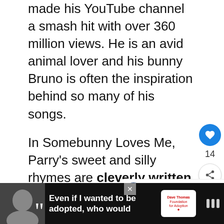made his YouTube channel a smash hit with over 360 million views. He is an avid animal lover and his bunny Bruno is often the inspiration behind so many of his songs.
In Somebunny Loves Me, Parry's sweet and silly rhymes are cleverly written to share how children can best understand, appreciate and interact with a variety of fuzzy, feathered or scaly pals.
[Figure (infographic): WHAT'S NEXT banner with Dad logo and text '#Win a $10 Walmart Gift...']
[Figure (infographic): Advertisement banner: 'Even if I wanted to be adopted, who would' with Dave Thomas Foundation for Adoption logo, dark background with woman photo]